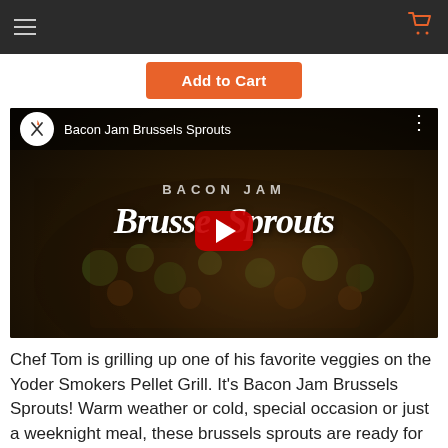Navigation bar with hamburger menu and cart icon
Add to Cart
[Figure (screenshot): YouTube video thumbnail showing Bacon Jam Brussels Sprouts cooking video with play button, dark food photography background, logo circle top left, video title at top]
Chef Tom is grilling up one of his favorite veggies on the Yoder Smokers Pellet Grill. It's Bacon Jam Brussels Sprouts! Warm weather or cold, special occasion or just a weeknight meal, these brussels sprouts are ready for any event. Check it out!